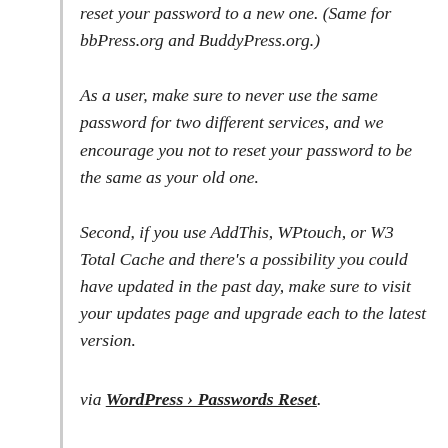reset your password to a new one. (Same for bbPress.org and BuddyPress.org.)
As a user, make sure to never use the same password for two different services, and we encourage you not to reset your password to be the same as your old one.
Second, if you use AddThis, WPtouch, or W3 Total Cache and there's a possibility you could have updated in the past day, make sure to visit your updates page and upgrade each to the latest version.
via WordPress › Passwords Reset.